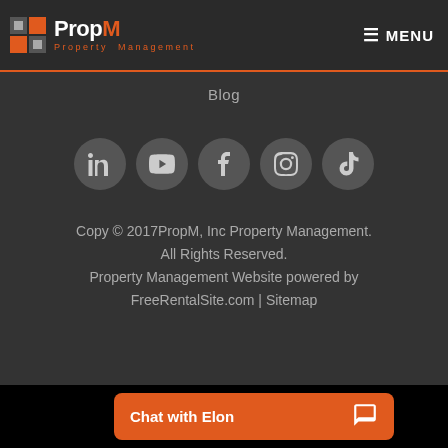PropM Property Management — MENU
Blog
[Figure (other): Row of 5 social media icons (LinkedIn, YouTube, Facebook, Instagram, TikTok) in dark circular buttons]
Copy © 2017PropM, Inc Property Management. All Rights Reserved. Property Management Website powered by FreeRentalSite.com | Sitemap
Chat with Elon